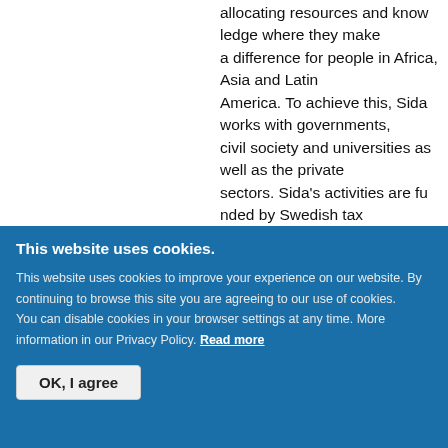allocating resources and know­ledge where they make a difference for people in Africa, Asia and Latin America. To achieve this, Sida works with governments, civil society and universities as well as the private sectors. Sida's activities are funded by Swedish tax revenue. See also www.sida.s…
Photo: Jason Mulikita
This website uses cookies.
This website uses cookies to improve your experience on our website. By continuing to browse this site you are agreeing to our use of cookies. You can disable cookies in your browser settings at any time. More information in our Privacy Policy. Read more
OK, I agree